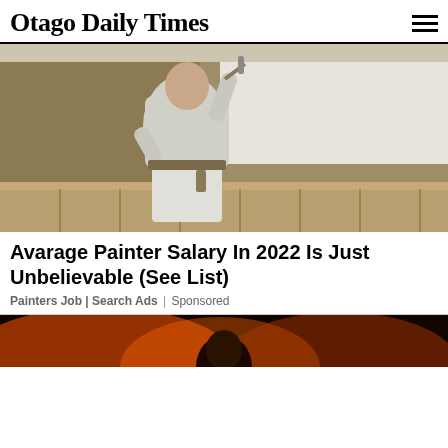Otago Daily Times
[Figure (photo): A painter (seen from behind) in a white t-shirt and white pants applies white paint with a roller to a tan/brown wall interior with wainscoting railing in the foreground.]
Avarage Painter Salary In 2022 Is Just Unbelievable (See List)
Painters Job | Search Ads | Sponsored
[Figure (photo): Partial view of a second article image showing a person with warm orange/fire background — partially cut off at bottom of page.]